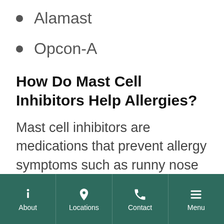Alamast
Opcon-A
How Do Mast Cell Inhibitors Help Allergies?
Mast cell inhibitors are medications that prevent allergy symptoms such as runny nose or itchy, watery eyes from occurring. They work by inhibiting the release of histamines the immune system produces in response to allergens such as pollen.
They are available in the form of nasal
About | Locations | Contact | Menu